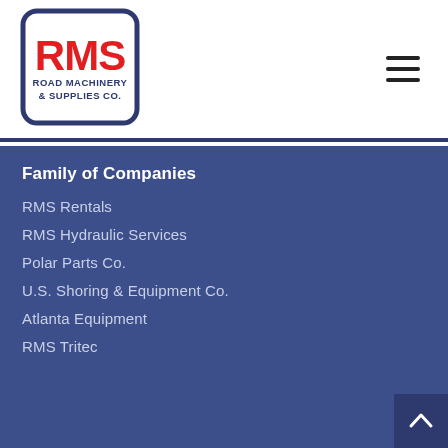[Figure (logo): RMS Road Machinery & Supplies Co. logo — red RMS letters inside a rounded blue rectangle border]
Family of Companies
RMS Rentals
RMS Hydraulic Services
Polar Parts Co.
U.S. Shoring & Equipment Co.
Atlanta Equipment
RMS Tritec